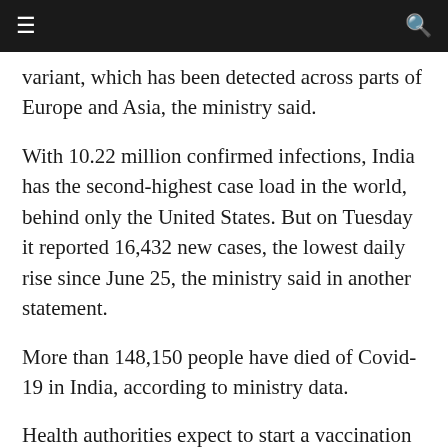≡  🔍
variant, which has been detected across parts of Europe and Asia, the ministry said.
With 10.22 million confirmed infections, India has the second-highest case load in the world, behind only the United States. But on Tuesday it reported 16,432 new cases, the lowest daily rise since June 25, the ministry said in another statement.
More than 148,150 people have died of Covid-19 in India, according to ministry data.
Health authorities expect to start a vaccination drive for some 300 million people early next month, with the Serum Institute of …